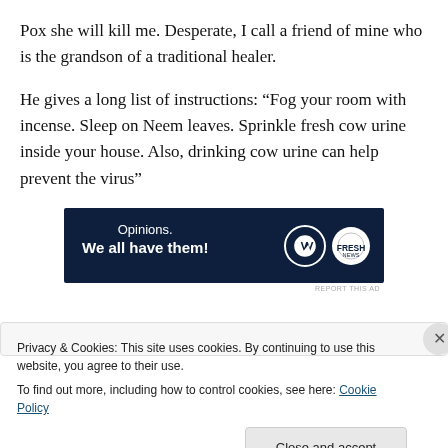Pox she will kill me. Desperate, I call a friend of mine who is the grandson of a traditional healer.
He gives a long list of instructions: “Fog your room with incense. Sleep on Neem leaves. Sprinkle fresh cow urine inside your house. Also, drinking cow urine can help prevent the virus”
[Figure (infographic): Dark navy advertisement banner with text 'Opinions. We all have them!' and WordPress and FreshNews logos on the right.]
REPORT THIS AD
Privacy & Cookies: This site uses cookies. By continuing to use this website, you agree to their use.
To find out more, including how to control cookies, see here: Cookie Policy